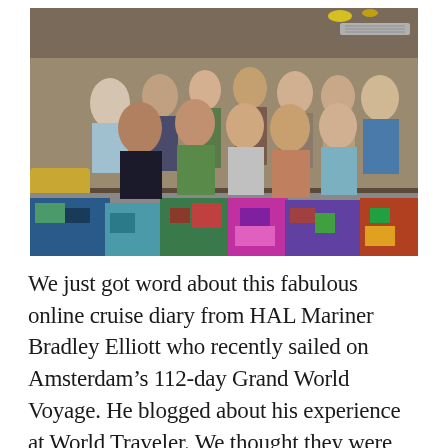[Figure (photo): Group photo of approximately 18-20 people standing together indoors on a cruise ship, with colorful knitted or crocheted blankets/quilts displayed on a table in the foreground.]
We just got word about this fabulous online cruise diary from HAL Mariner Bradley Elliott who recently sailed on Amsterdam’s 112-day Grand World Voyage. He blogged about his experience at World Traveler. We thought they were just too cool to pass up.